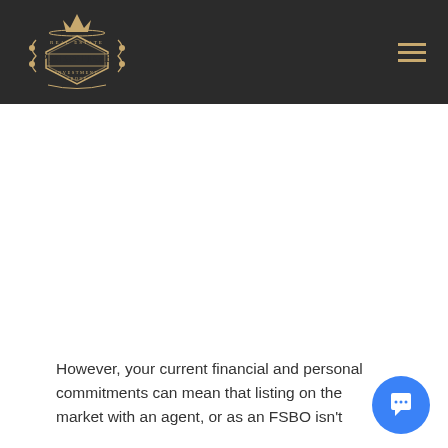[Figure (logo): Prestige Real Estate Investment Group logo — ornate gold crest with crown on dark background]
However, your current financial and personal commitments can mean that listing on the market with an agent, or as an FSBO isn't